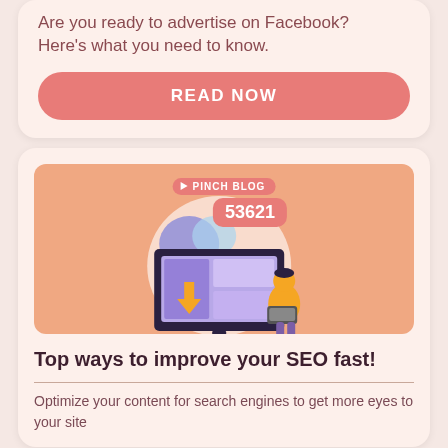Are you ready to advertise on Facebook? Here's what you need to know.
READ NOW
[Figure (illustration): Blog post card with orange background showing a computer monitor displaying a purple website layout. A person in orange holds a laptop. A large yellow arrow points upward on the screen. A red badge shows the number 53621. A 'PINCH BLOG' label is visible at the top.]
Top ways to improve your SEO fast!
Optimize your content for search engines to get more eyes to your site